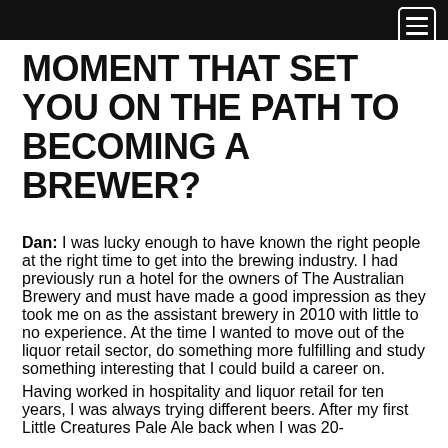[Navigation bar with hamburger menu]
MOMENT THAT SET YOU ON THE PATH TO BECOMING A BREWER?
Dan: I was lucky enough to have known the right people at the right time to get into the brewing industry. I had previously run a hotel for the owners of The Australian Brewery and must have made a good impression as they took me on as the assistant brewery in 2010 with little to no experience. At the time I wanted to move out of the liquor retail sector, do something more fulfilling and study something interesting that I could build a career on.
Having worked in hospitality and liquor retail for ten years, I was always trying different beers. After my first Little Creatures Pale Ale back when I was 20-